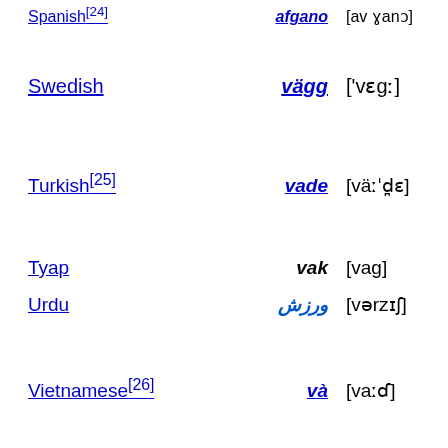Spanish[24] | afgano | [av ɣanɔ] | Af...
Swedish | vägg | ['vɛgː] | 'wal...
Turkish[25] | vade | [väːˈd̪ɛ] | 'due...
Tyap | vak | [vag] | 'roa...
Urdu | ورزش | [vərzɪʃ] | 'exe...
Vietnamese[26] | và | [vaːɗ] | 'and...